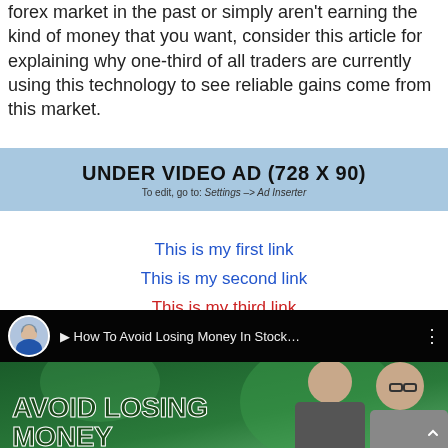forex market in the past or simply aren't earning the kind of money that you want, consider this article for explaining why one-third of all traders are currently using this technology to see reliable gains come from this market.
[Figure (other): Ad banner placeholder with light blue background reading 'UNDER VIDEO AD (728 X 90)' and subtitle 'To edit, go to: Settings --> Ad Inserter']
This is my first link
This is my second link
This is my third link
[Figure (screenshot): YouTube video screenshot with dark top bar showing avatar, title 'How To Avoid Losing Money In Stock...' and thumbnail showing two men with green background and bold text 'AVOID LOSING MONEY']